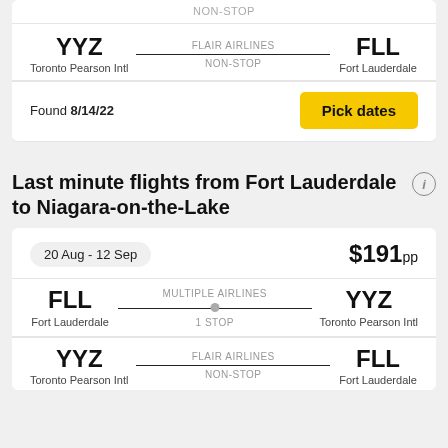NON-STOP
YYZ Toronto Pearson Intl — FLAIR AIRLINES — NON-STOP — FLL Fort Lauderdale
Found 8/14/22
Pick dates
Last minute flights from Fort Lauderdale to Niagara-on-the-Lake
20 Aug - 12 Sep — $191pp
FLL Fort Lauderdale — MULTIPLE AIRLINES — 1 STOP — YYZ Toronto Pearson Intl
YYZ Toronto Pearson Intl — FLAIR AIRLINES — NON-STOP — FLL Fort Lauderdale